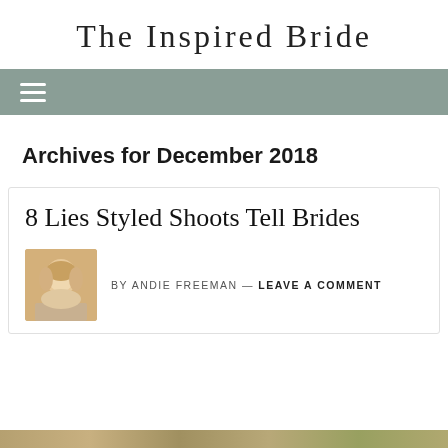The Inspired Bride
Archives for December 2018
8 Lies Styled Shoots Tell Brides
BY ANDIE FREEMAN — LEAVE A COMMENT